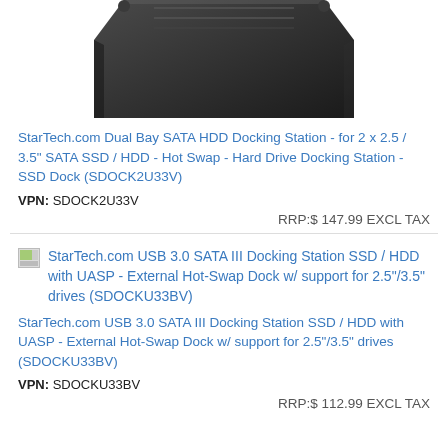[Figure (photo): Top portion of a black StarTech Dual Bay SATA HDD Docking Station, viewed from above/front angle, cropped at top]
StarTech.com Dual Bay SATA HDD Docking Station - for 2 x 2.5 / 3.5" SATA SSD / HDD - Hot Swap - Hard Drive Docking Station - SSD Dock (SDOCK2U33V)
VPN: SDOCK2U33V
RRP:$ 147.99 EXCL TAX
[Figure (photo): Small thumbnail image icon for StarTech USB 3.0 SATA III Docking Station product]
StarTech.com USB 3.0 SATA III Docking Station SSD / HDD with UASP - External Hot-Swap Dock w/ support for 2.5"/3.5" drives (SDOCKU33BV)
StarTech.com USB 3.0 SATA III Docking Station SSD / HDD with UASP - External Hot-Swap Dock w/ support for 2.5"/3.5" drives (SDOCKU33BV)
VPN: SDOCKU33BV
RRP:$ 112.99 EXCL TAX